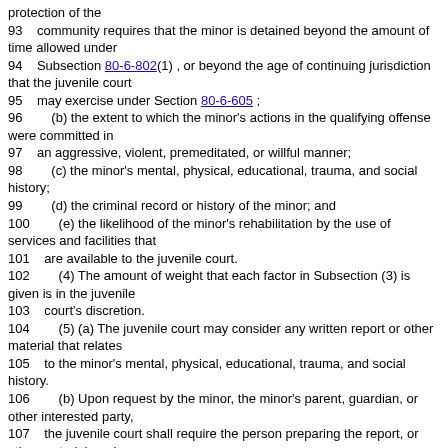protection of the
93    community requires that the minor is detained beyond the amount of time allowed under
94    Subsection 80-6-802(1) , or beyond the age of continuing jurisdiction that the juvenile court
95    may exercise under Section 80-6-605 ;
96        (b) the extent to which the minor's actions in the qualifying offense were committed in
97    an aggressive, violent, premeditated, or willful manner;
98        (c) the minor's mental, physical, educational, trauma, and social history;
99        (d) the criminal record or history of the minor; and
100        (e) the likelihood of the minor's rehabilitation by the use of services and facilities that
101    are available to the juvenile court.
102        (4) The amount of weight that each factor in Subsection (3) is given is in the juvenile
103    court's discretion.
104        (5) (a) The juvenile court may consider any written report or other material that relates
105    to the minor's mental, physical, educational, trauma, and social history.
106        (b) Upon request by the minor, the minor's parent, guardian, or other interested party,
107    the juvenile court shall require the person preparing the report, or other material, under
108    Subsection (5)(a) to appear and be subject to direct and cross-examination.
109        (6) At the preliminary hearing under Subsection (1), a minor may testify under oath,
110    call witnesses, cross-examine witnesses, and present evidence on